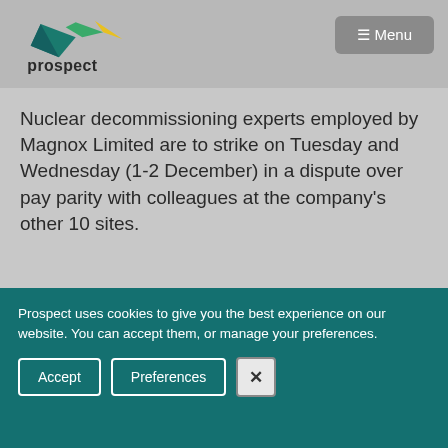prospect [logo] ≡ Menu
Nuclear decommissioning experts employed by Magnox Limited are to strike on Tuesday and Wednesday (1-2 December) in a dispute over pay parity with colleagues at the company's other 10 sites.
Prospect uses cookies to give you the best experience on our website. You can accept them, or manage your preferences.
Accept | Preferences | [close button]